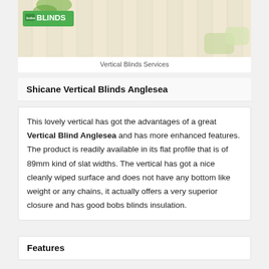[Figure (photo): Image of vertical blinds in a room setting with a BLINDS logo badge in the top left corner]
Vertical Blinds Services
Shicane Vertical Blinds Anglesea
This lovely vertical has got the advantages of a great Vertical Blind Anglesea and has more enhanced features. The product is readily available in its flat profile that is of 89mm kind of slat widths. The vertical has got a nice cleanly wiped surface and does not have any bottom like weight or any chains, it actually offers a very superior closure and has good bobs blinds insulation.
Features